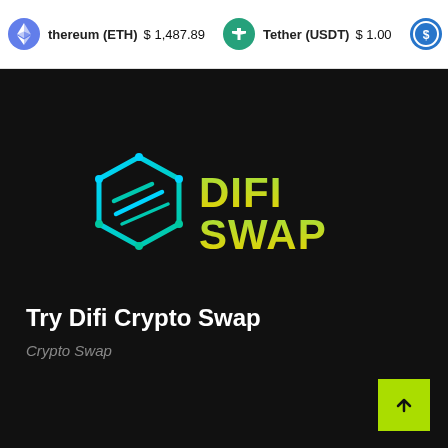Ethereum (ETH) $1,487.89  Tether (USDT) $1.00
[Figure (logo): DifiSwap logo: cyan hexagon with diagonal lines and gradient DIFI SWAP text in green-yellow]
Try Difi Crypto Swap
Crypto Swap